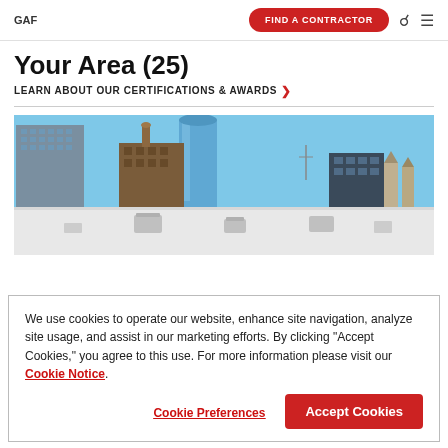GAF | FIND A CONTRACTOR
Your Area (25)
LEARN ABOUT OUR CERTIFICATIONS & AWARDS ›
[Figure (photo): Aerial view of a city skyline with commercial rooftop in foreground. Several tall buildings including a glass tower and brown brick buildings visible against a clear blue sky. White flat roof with HVAC units in foreground.]
We use cookies to operate our website, enhance site navigation, analyze site usage, and assist in our marketing efforts. By clicking "Accept Cookies," you agree to this use. For more information please visit our Cookie Notice.
Cookie Preferences
Accept Cookies